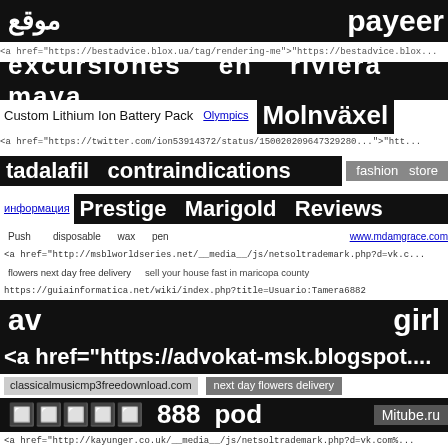موقع   payeer
<a href="https://bestadvice.blox.ua/tag/rendering-me">"https://bestadvice.blox...
excursiones   en   riviera   maya
Custom Lithium Ion Battery Pack   Olympics   Molnväxel
<a href="https://twitter.com/ion53914372/status/150020209647329280">"htt...
tadalafil   contraindications   fashion store
информация   Prestige Marigold Reviews
Push   disposable   wax   pen   www.mdamgrace.com
<a href="http://msblworldseries.net/__media__/js/netsoltrademark.php?d=vk.c...
flowers next day free delivery   sell your house fast in maricopa county
https://guiainformatica.net/wiki/index.php?title=Usuario:Tamera6882
av                                                          girl
<a href="https://advokat-msk.blogspot....
classicalmusicmp3freedownload.com   next day flowers delivery
🔲🔲🔲🔲🔲   888   pod   Mitube.ru
<a href="http://kayunger.co.uk/__media__/js/netsoltrademark.php?d=vk.com%...
<a href="http://appp.ru/bitrix/rk.php?goto=https://vk.com/wall-214218228_11">...
sacramento   teen   photo
kids cinema   error tracking   tooth pain
<a href="https://infeeda.by/bitrix/redirect.php?goto=https://vk.com/wall-21410...
Transmission shop in surprise az   miss148   selling invoice